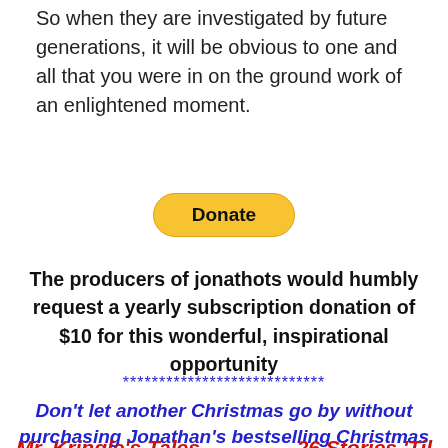So when they are investigated by future generations, it will be obvious to one and all that you were in on the ground work of an enlightened moment.
[Figure (other): Yellow PayPal Donate button with rounded corners]
The producers of jonathots would humbly request a yearly subscription donation of $10 for this wonderful, inspirational opportunity
****************************
Don't let another Christmas go by without purchasing Jonathan's bestselling Christmas book!
Mr. Kringle's Tales   26 Stories 'Til